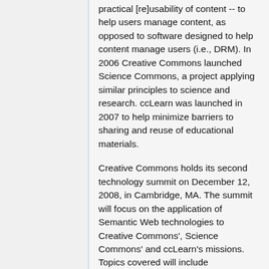practical [re]usability of content -- to help users manage content, as opposed to software designed to help content manage users (i.e., DRM). In 2006 Creative Commons launched Science Commons, a project applying similar principles to science and research. ccLearn was launched in 2007 to help minimize barriers to sharing and reuse of educational materials.
Creative Commons holds its second technology summit on December 12, 2008, in Cambridge, MA. The summit will focus on the application of Semantic Web technologies to Creative Commons', Science Commons' and ccLearn's missions. Topics covered will include ccREL/RDFa, the Neurocommons project and an update on the Universal Education Search